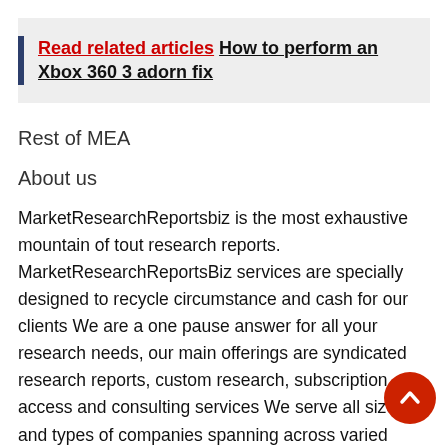Read related articles  How to perform an Xbox 360 3 adorn fix
Rest of MEA
About us
MarketResearchReportsbiz is the most exhaustive mountain of tout research reports. MarketResearchReportsBiz services are specially designed to recycle circumstance and cash for our clients We are a one pause answer for all your research needs, our main offerings are syndicated research reports, custom research, subscription access and consulting services We serve all sizes and types of companies spanning across varied